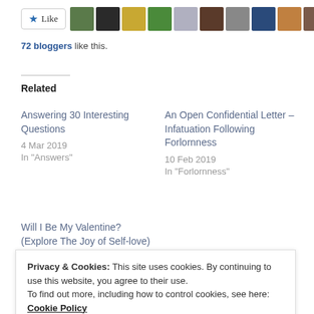[Figure (other): Like button with star icon followed by a row of 10 blogger avatar thumbnails]
72 bloggers like this.
Related
Answering 30 Interesting Questions
4 Mar 2019
In "Answers"
An Open Confidential Letter – Infatuation Following Forlornness
10 Feb 2019
In "Forlornness"
Will I Be My Valentine? (Explore The Joy of Self-love)
Privacy & Cookies: This site uses cookies. By continuing to use this website, you agree to their use.
To find out more, including how to control cookies, see here: Cookie Policy
Close and accept